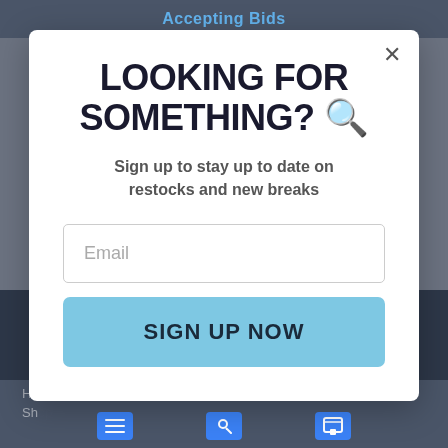Accepting Bids
[Figure (screenshot): Website background with dark header bar showing 'Accepting Bids' in blue text, a dark band in the middle, and bottom navigation with blue icons]
LOOKING FOR SOMETHING? 🔍
Sign up to stay up to date on restocks and new breaks
Email
SIGN UP NOW